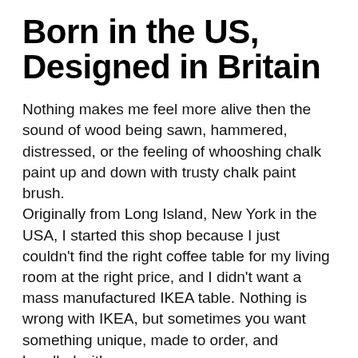Born in the US, Designed in Britain
Nothing makes me feel more alive then the sound of wood being sawn, hammered, distressed, or the feeling of whooshing chalk paint up and down with trusty chalk paint brush.
Originally from Long Island, New York in the USA, I started this shop because I just couldn't find the right coffee table for my living room at the right price, and I didn't want a mass manufactured IKEA table. Nothing is wrong with IKEA, but sometimes you want something unique, made to order, and handled with care.
After creating my first set and posting it on Facebook for my friends to see, some of them wanted one. I was flattered, but have experienced wondering selling...